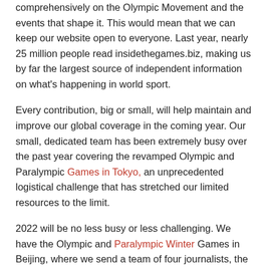comprehensively on the Olympic Movement and the events that shape it. This would mean that we can keep our website open to everyone. Last year, nearly 25 million people read insidethegames.biz, making us by far the largest source of independent information on what's happening in world sport.
Every contribution, big or small, will help maintain and improve our global coverage in the coming year. Our small, dedicated team has been extremely busy over the past year covering the revamped Olympic and Paralympic Games in Tokyo, an unprecedented logistical challenge that has stretched our limited resources to the limit.
2022 will be no less busy or less challenging. We have the Olympic and Paralympic Winter Games in Beijing, where we send a team of four journalists, the Commonwealth Games in Birmingham, the World Summer University and the Asian Games in China, the World Games in Alabama and several World's Championships. Plus, of course, there's the FIFA World Cup in